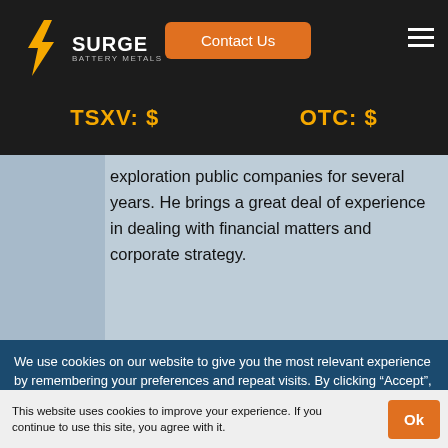SURGE BATTERY METALS | Contact Us
TSXV: $
OTC: $
exploration public companies for several years. He brings a great deal of experience in dealing with financial matters and corporate strategy.
We use cookies on our website to give you the most relevant experience by remembering your preferences and repeat visits. By clicking “Accept”, you consent to the use of ALL the cookies.
This website uses cookies to improve your experience. If you continue to use this site, you agree with it.